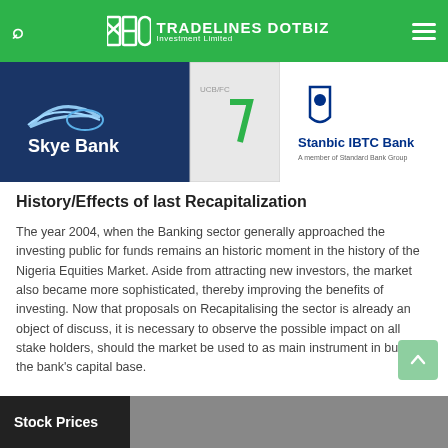TRADELINES DOTBIZ Investment Limited
[Figure (photo): Bank logos: Skye Bank (left, dark blue background with fish logo), a middle bank logo partially visible, and Stanbic IBTC Bank (right, white background with shield logo)]
History/Effects of last Recapitalization
The year 2004, when the Banking sector generally approached the investing public for funds remains an historic moment in the history of the Nigeria Equities Market. Aside from attracting new investors, the market also became more sophisticated, thereby improving the benefits of investing. Now that proposals on Recapitalising the sector is already an object of discuss, it is necessary to observe the possible impact on all stake holders, should the market be used to as main instrument in building the bank’s capital base.
Stock Prices